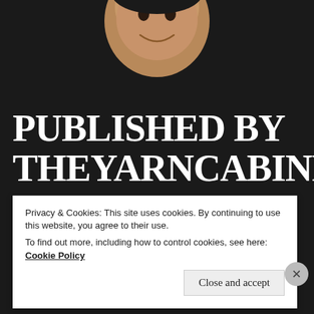[Figure (photo): Circular cropped photo of a smiling child against a dark background]
PUBLISHED BY THEYARNCABINET
Southern California chick now an East Coast chick View all posts by theyarncabinet
Privacy & Cookies: This site uses cookies. By continuing to use this website, you agree to their use.
To find out more, including how to control cookies, see here: Cookie Policy
Close and accept